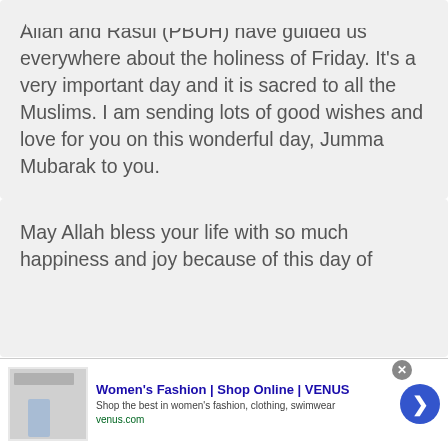Allah and Rasul (PBUH) have guided us everywhere about the holiness of Friday. It’s a very important day and it is sacred to all the Muslims. I am sending lots of good wishes and love for you on this wonderful day, Jumma Mubarak to you.
May Allah bless your life with so much happiness and joy because of this day of
[Figure (other): Advertisement banner for Women's Fashion | Shop Online | VENUS with shop image, title, description text 'Shop the best in women’s fashion, clothing, swimwear', URL venus.com, close button, and forward arrow button]